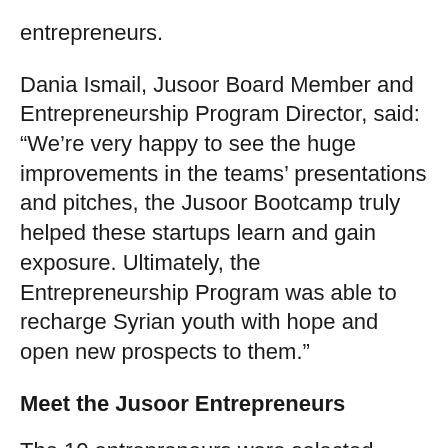entrepreneurs.
Dania Ismail, Jusoor Board Member and Entrepreneurship Program Director, said: “We’re very happy to see the huge improvements in the teams’ presentations and pitches, the Jusoor Bootcamp truly helped these startups learn and gain exposure. Ultimately, the Entrepreneurship Program was able to recharge Syrian youth with hope and open new prospects to them.”
Meet the Jusoor Entrepreneurs
The 10 entrepreneurs were selected based on their pitch during the Entrepreneurship Competition, part of the Jusoor Entrepreneurship Program. Their ideas ranged from innovative educational platforms, transportation solutions, and healthcare mobile applications to upcycled building materials and